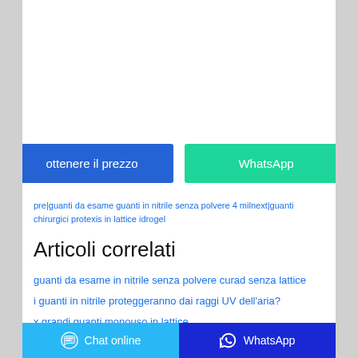[Figure (other): White blank advertisement/image area at top of page]
ottenere il prezzo
WhatsApp
pre|guanti da esame guanti in nitrile senza polvere 4 mil next| guanti chirurgici protexis in lattice idrogel
Articoli correlati
guanti da esame in nitrile senza polvere curad senza lattice
i guanti in nitrile proteggeranno dai raggi UV dell'aria?
x grandi guanti monouso in lattice
guanti in lattice usa e getta tutte le taglie gratis
guanti in nitrile a dubuque nj
Chat online   WhatsApp